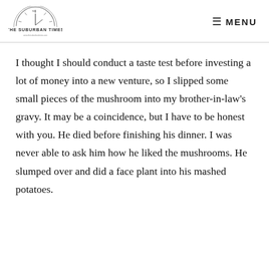THE SUBURBAN TIMES | MENU
I thought I should conduct a taste test before investing a lot of money into a new venture, so I slipped some small pieces of the mushroom into my brother-in-law's gravy. It may be a coincidence, but I have to be honest with you. He died before finishing his dinner. I was never able to ask him how he liked the mushrooms. He slumped over and did a face plant into his mashed potatoes.